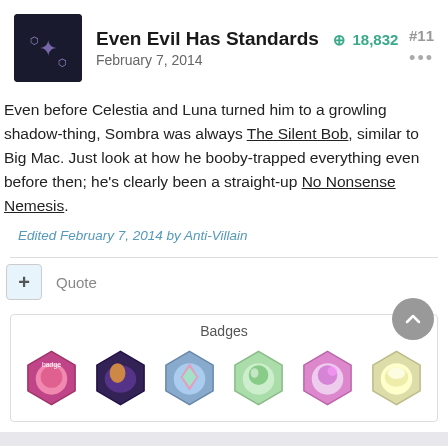Even Evil Has Standards +18,832 #11 February 7, 2014
Even before Celestia and Luna turned him to a growling shadow-thing, Sombra was always The Silent Bob, similar to Big Mac. Just look at how he booby-trapped everything even before then; he's clearly been a straight-up No Nonsense Nemesis.
Edited February 7, 2014 by Anti-Villain
Quote
Badges
[Figure (illustration): Six badge icons in a row]
Scootalove +10,674